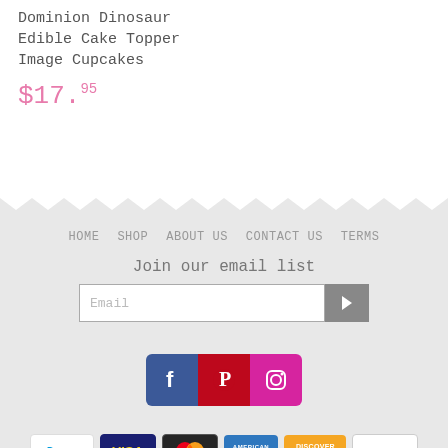Dominion Dinosaur Edible Cake Topper Image Cupcakes
$17.95
HOME  SHOP  ABOUT US  CONTACT US  TERMS
Join our email list
[Figure (infographic): Social media icons: Facebook, Pinterest, Instagram]
[Figure (infographic): Payment icons: PayPal, Visa, MasterCard, American Express, Discover, Apple Pay]